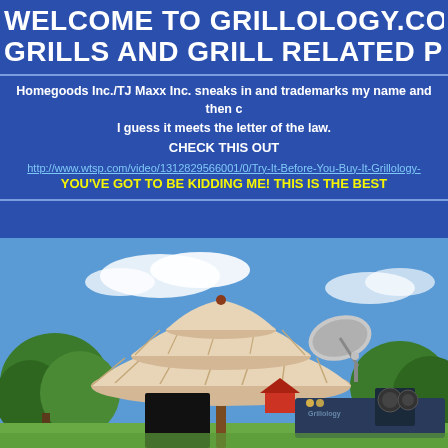WELCOME TO GRILLOLOGY.COM, 2 GRILLS AND GRILL RELATED PROD
Homegoods Inc./TJ Maxx Inc. sneaks in and trademarks my name and then c I guess it meets the letter of the law. CHECK THIS OUT
http://www.wtsp.com/video/1312829566001/0/Try-It-Before-You-Buy-It-Grillology-
YOU'VE GOT TO BE KIDDING ME! THIS IS THE BEST
[Figure (photo): Outdoor scene with a large multi-tiered patio umbrella, green trees, blue sky with clouds, a satellite dish, and equipment including fans and speakers on a platform.]